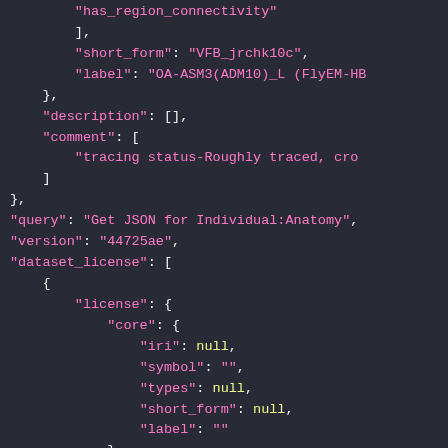[Figure (screenshot): JSON code snippet displayed in a dark-themed code editor. Shows JSON data with keys like has_region_connectivity, short_form, label, description, comment, query, version, dataset_license, license, core, iri, symbol, types, short_form, label. Color-coded with pink strings and yellow values on dark background.]